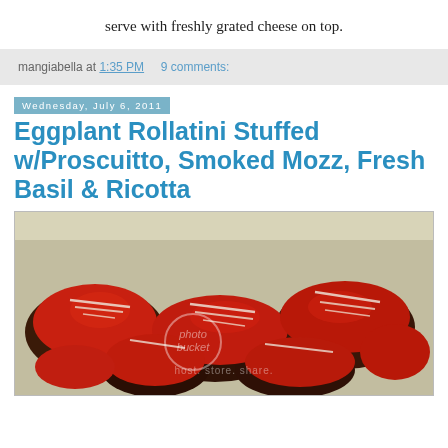serve with freshly grated cheese on top.
mangiabella at 1:35 PM   9 comments:
Wednesday, July 6, 2011
Eggplant Rollatini Stuffed w/Proscuitto, Smoked Mozz, Fresh Basil & Ricotta
[Figure (photo): Photo of eggplant rollatini topped with tomato sauce and grated cheese in a baking dish, with a photobucket watermark overlay.]